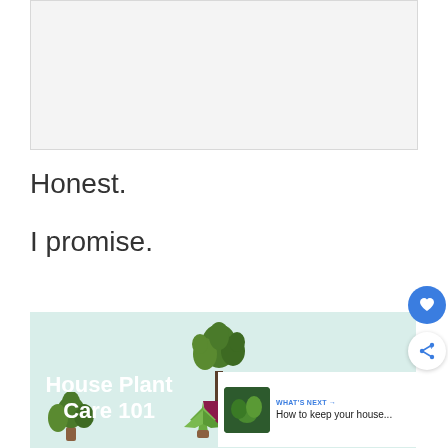[Figure (other): Gray advertisement placeholder box]
Honest.
I promise.
[Figure (infographic): House Plant Care 101 infographic with light teal background, illustrated potted plants, and overlay showing 'WHAT'S NEXT → How to keep your house...' with HOW TO KEEP YOUR HOUSE PLANTS ALIVE text]
[Figure (other): Blue circular heart/favorite FAB button and white circular share FAB button on the right side]